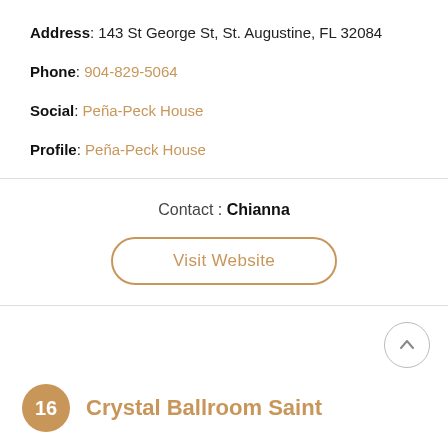Address: 143 St George St, St. Augustine, FL 32084
Phone: 904-829-5064
Social: Peña-Peck House
Profile: Peña-Peck House
Contact : Chianna
Visit Website
16 Crystal Ballroom Saint